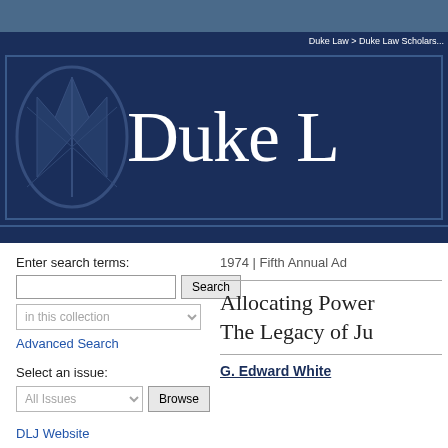[Figure (logo): Duke Law School logo banner with dark navy background, scales of justice watermark, and 'Duke L' text in white serif font]
Enter search terms:
in this collection
Advanced Search
Select an issue:
All Issues
DLJ Website
Current Issue
Video
1974 | Fifth Annual Ad
Allocating Power The Legacy of Ju
G. Edward White